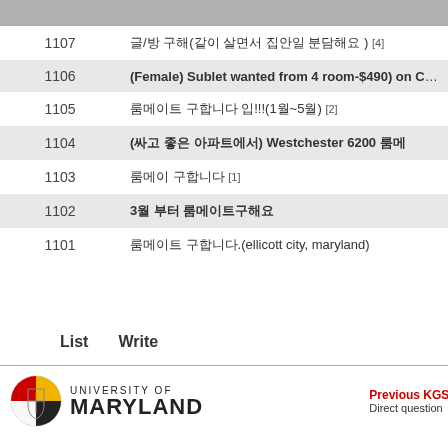| # | Title |
| --- | --- |
| 1107 | 글/방 구해(같이 살면서 집안일 분담해요 ) [4] |
| 1106 | (Female) Sublet wanted from 4 room-$490) on Cherry Hill rd |
| 1105 | 룸메이트 구합니다 입!!!(1월~5월) [2] |
| 1104 | (싸고 좋은 아파트에서) Westchester 6200 룸메 |
| 1103 | 룸메이 구합니다 [1] |
| 1102 | 3월 부터 룸메이트구해요 |
| 1101 | 룸메이트 구합니다.(ellicott city, maryland) |
List   Write
[Figure (logo): University of Maryland logo with shield emblem and text UNIVERSITY OF MARYLAND]
Previous KGSA
Direct question